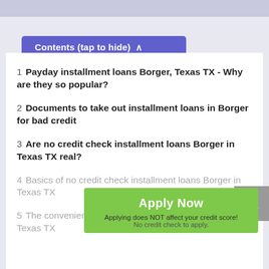Contents (tap to hide) ^
1  Payday installment loans Borger, Texas TX - Why are they so popular?
2  Documents to take out installment loans in Borger for bad credit
3  Are no credit check installment loans Borger in Texas TX real?
4  Basics of no credit check installment loans Borger in Texas TX
5  The convenience of getting installment loans Borger in Texas TX
Apply Now
Applying does NOT affect your credit score!
No credit check to apply.